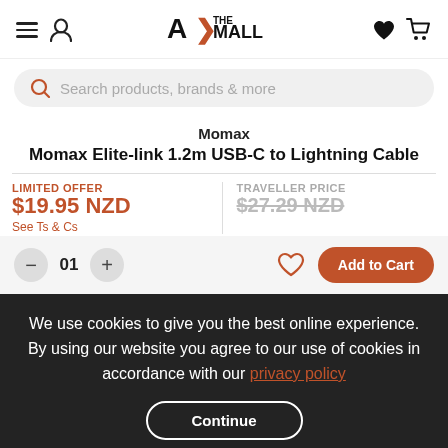[Figure (logo): AX THE MALL logo with hamburger menu, user icon, heart, and cart icons in header]
Search products, brands & more
Momax
Momax Elite-link 1.2m USB-C to Lightning Cable
LIMITED OFFER
$19.95 NZD
See Ts & Cs
TRAVELLER PRICE
$27.29 NZD
01
Add to Cart
We use cookies to give you the best online experience. By using our website you agree to our use of cookies in accordance with our privacy policy
Continue